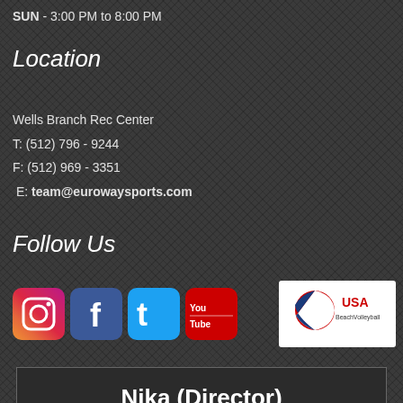SUN - 3:00 PM to 8:00 PM
Location
Wells Branch Rec Center
T: (512) 796 - 9244
F: (512) 969 - 3351
E: team@eurowaysports.com
Follow Us
[Figure (logo): Social media icons: Instagram, Facebook, Twitter, YouTube]
[Figure (logo): USA Beach Volleyball logo]
Nika (Director)